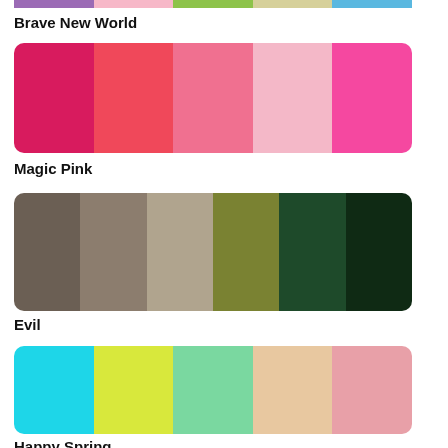[Figure (illustration): Top color palette strip with purple, pink, green, khaki/cream, and blue swatches - partially cropped at top]
Brave New World
[Figure (illustration): Magic Pink color palette with 5 swatches: deep pink/crimson, coral red, hot pink, light pink, bright magenta pink]
Magic Pink
[Figure (illustration): Evil color palette with 6 swatches: dark gray-brown, taupe, khaki beige, olive green, dark forest green, very dark forest green]
Evil
[Figure (illustration): Happy Spring color palette with 5 swatches: cyan/turquoise, yellow-green, mint green, peach/apricot, light pink]
Happy Spring